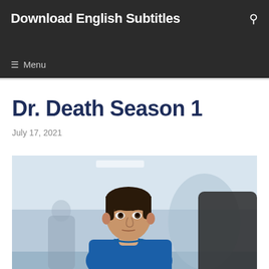Download English Subtitles
Dr. Death Season 1
July 17, 2021
[Figure (photo): A man with dark hair wearing blue scrubs, standing in what appears to be a hospital hallway, looking forward seriously. Another figure partially visible in the foreground.]